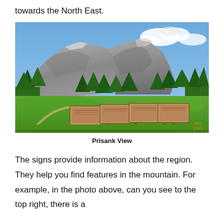towards the North East.
[Figure (photo): Mountain landscape photo showing a large rocky mountain (Prisank) against a blue sky with white clouds. Green meadow in foreground with several informational sign boards on wooden stands arranged in a row. Tall evergreen trees in the middle ground. Watermark 'ZIG ZAG' in lower right corner.]
Prisank View
The signs provide information about the region. They help you find features in the mountain. For example, in the photo above, can you see to the top right, there is a